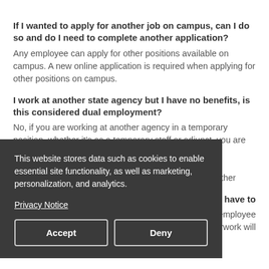If I wanted to apply for another job on campus, can I do so and do I need to complete another application? Any employee can apply for other positions available on campus. A new online application is required when applying for other positions on campus.
I work at another state agency but I have no benefits, is this considered dual employment? No, if you are working at another agency in a temporary position, whether it's as a temporary staff or adjunct, you are not considered to be dually employed. Only persons holding ... ancy (except ... mployment. ... for further
; do I have to ... employee ... paperwork will not have to be completed.
[Figure (screenshot): Cookie consent banner overlay with dark background reading: 'This website stores data such as cookies to enable essential site functionality, as well as marketing, personalization, and analytics.' with a Privacy Notice link and Accept/Deny buttons.]